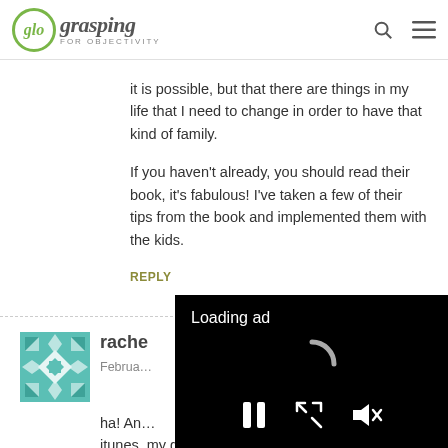glo grasping FOR OBJECTIVITY
it is possible, but that there are things in my life that I need to change in order to have that kind of family.
If you haven't already, you should read their book, it's fabulous! I've taken a few of their tips from the book and implemented them with the kids.
REPLY
[Figure (screenshot): Comment section with avatar image (teal geometric quilt pattern), commenter name 'rache' and date starting 'Februa...' with comment text starting 'ha! An...' and 'itunes. my girls and I watched it together']
[Figure (screenshot): Black video ad overlay showing 'Loading ad' text, a loading spinner (C shape), and playback controls: pause button, resize button, and mute button]